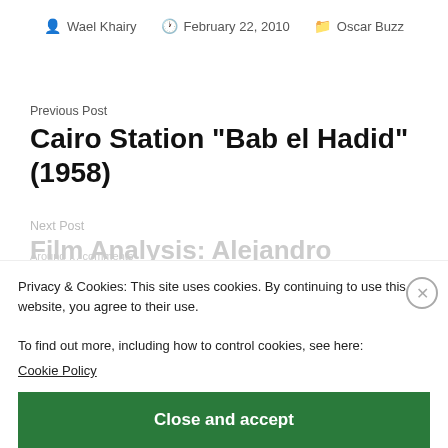Wael Khairy  February 22, 2010  Oscar Buzz
Previous Post
Cairo Station “Bab el Hadid” (1958)
Next Post
Film Analysis: Alejandro Amenábar’s “The
Privacy & Cookies: This site uses cookies. By continuing to use this website, you agree to their use.
To find out more, including how to control cookies, see here:
Cookie Policy
Close and accept